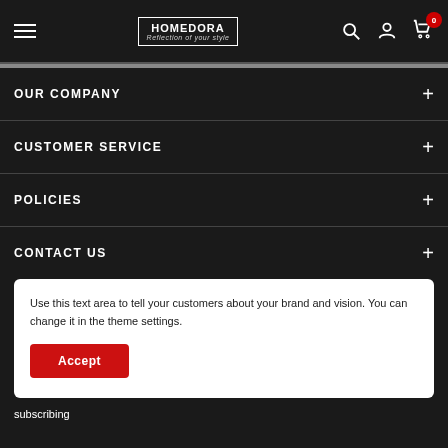HOMEDORA - Reflection of your style
OUR COMPANY
CUSTOMER SERVICE
POLICIES
CONTACT US
Use this text area to tell your customers about your brand and vision. You can change it in the theme settings.
Accept
subscribing